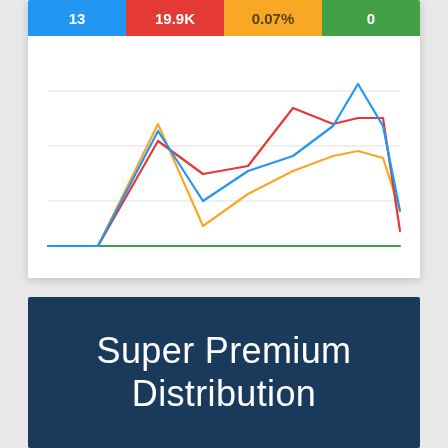[Figure (line-chart): Line chart with four colored metric tiles at top (13, 19.9K, 0.07%, 0) and four line series below]
Super Premium Distribution